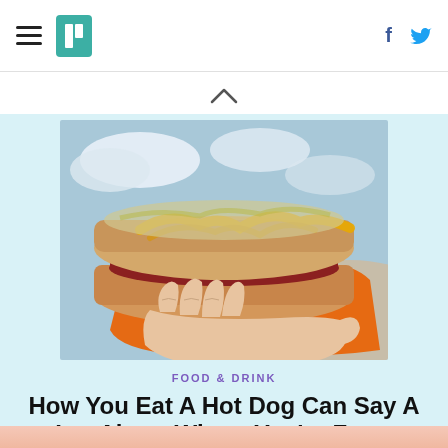HuffPost navigation with hamburger menu, logo, Facebook and Twitter icons
[Figure (photo): A hand holding a hot dog with mustard, sauerkraut and toppings in an orange wrapper, with a beach/sky background]
FOOD & DRINK
How You Eat A Hot Dog Can Say A Lot About Where You're From